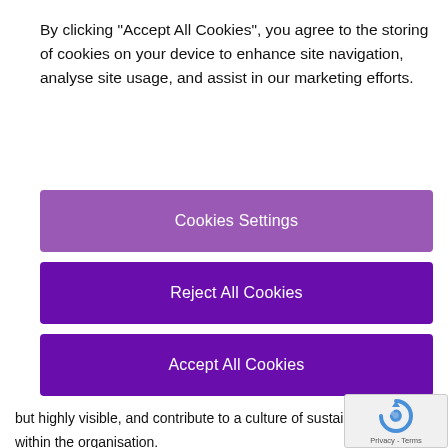By clicking “Accept All Cookies”, you agree to the storing of cookies on your device to enhance site navigation, analyse site usage, and assist in our marketing efforts.
[Figure (screenshot): Cookie consent dialog with three buttons: 'Cookies Settings' (light purple), 'Reject All Cookies' (dark purple), 'Accept All Cookies' (dark purple)]
but highly visible, and contribute to a culture of sustainability within the organisation.
[Figure (other): Google reCAPTCHA widget with Privacy - Terms text]